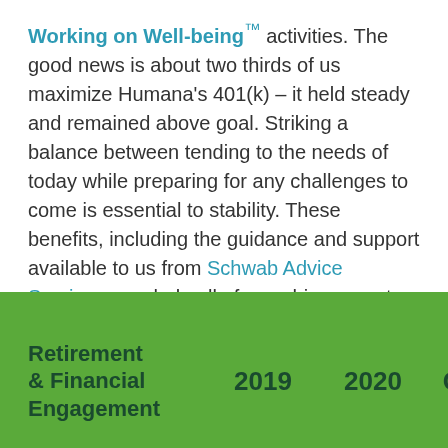Working on Well-being™ activities. The good news is about two thirds of us maximize Humana's 401(k) – it held steady and remained above goal. Striking a balance between tending to the needs of today while preparing for any challenges to come is essential to stability. These benefits, including the guidance and support available to us from Schwab Advice Services, can help all of us achieve greater financial security. Making the most of them is making an investment in our own long-term well-being.
| Retirement & Financial Engagement | 2019 | 2020 | Goal |
| --- | --- | --- | --- |